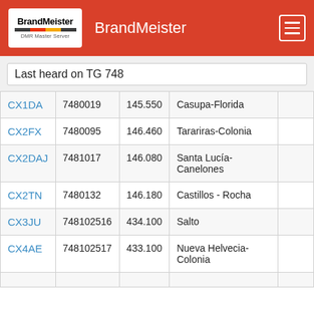BrandMeister
Last heard on TG 748
| Callsign | ID | Freq | Location |  |
| --- | --- | --- | --- | --- |
| CX1DA | 7480019 | 145.550 | Casupa-Florida |  |
| CX2FX | 7480095 | 146.460 | Tarariras-Colonia |  |
| CX2DAJ | 7481017 | 146.080 | Santa Lucía-Canelones |  |
| CX2TN | 7480132 | 146.180 | Castillos - Rocha |  |
| CX3JU | 748102516 | 434.100 | Salto |  |
| CX4AE | 748102517 | 433.100 | Nueva Helvecia-Colonia |  |